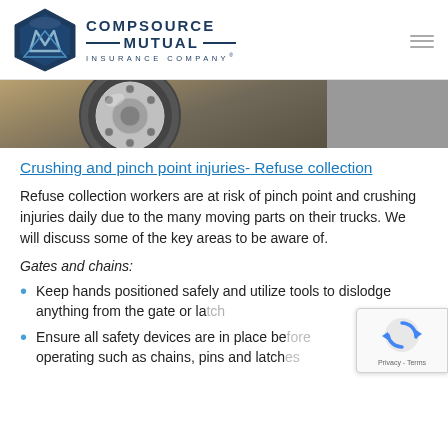[Figure (logo): CompSource Mutual Insurance Company logo with hexagonal M emblem]
[Figure (photo): Close-up photo of a truck wheel/tire on a refuse collection vehicle, partially visible at top of page]
Crushing and pinch point injuries- Refuse collection
Refuse collection workers are at risk of pinch point and crushing injuries daily due to the many moving parts on their trucks. We will discuss some of the key areas to be aware of.
Gates and chains:
Keep hands positioned safely and utilize tools to dislodge anything from the gate or la...
Ensure all safety devices are in place be... operating such as chains, pins and latches